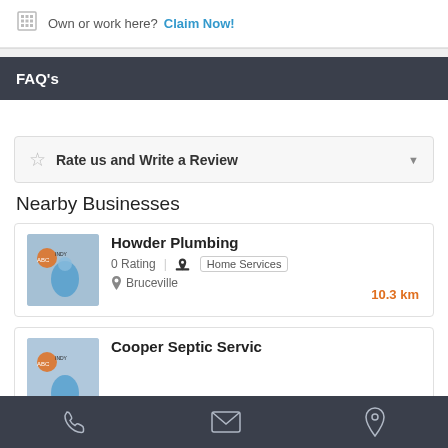Own or work here? Claim Now!
FAQ's
Rate us and Write a Review
Nearby Businesses
Howder Plumbing
0 Rating | Home Services
Bruceville
10.3 km
Cooper Septic Servic